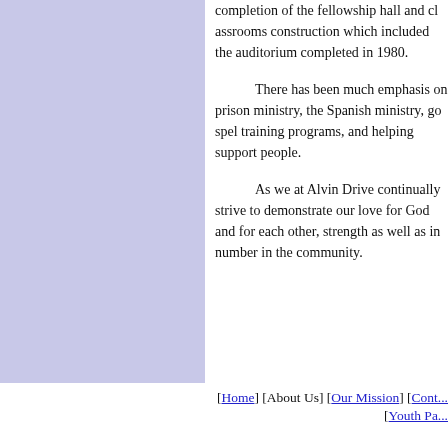completion of the fellowship hall and cl... construction which included the auditorium... completed in 1980.
There has been much emphasis on prison ministry, the Spanish ministry, go... training programs, and helping support p...
As we at Alvin Drive continually s... demonstrate our love for God and for ea... strength as well as in number in the com...
[Home] [About Us] [Our Mission] [Cont... [Youth Pa...